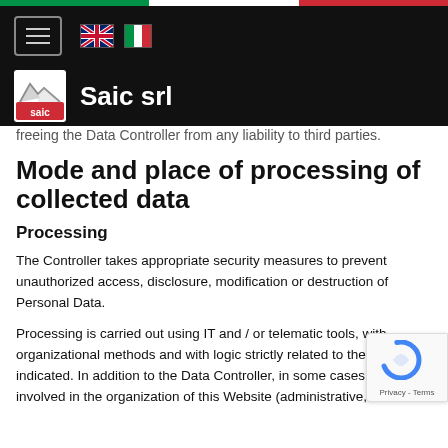[Figure (logo): Saic srl website header with navigation hamburger menu, UK and Italian flag icons, Saic srl logo and company name on black background]
freeing the Data Controller from any liability to third parties.
Mode and place of processing of collected data
Processing
The Controller takes appropriate security measures to prevent unauthorized access, disclosure, modification or destruction of Personal Data.
Processing is carried out using IT and / or telematic tools, with organizational methods and with logic strictly related to the p indicated. In addition to the Data Controller, in some cases, o parties involved in the organization of this Website (administrative,